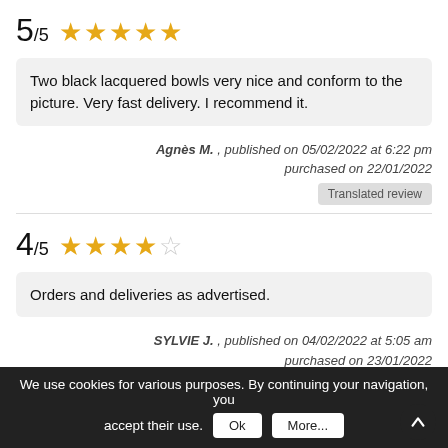5/5 ★★★★★
Two black lacquered bowls very nice and conform to the picture. Very fast delivery. I recommend it.
Agnès M. , published on 05/02/2022 at 6:22 pm purchased on 22/01/2022
Translated review
4/5 ★★★★☆
Orders and deliveries as advertised.
SYLVIE J. , published on 04/02/2022 at 5:05 am purchased on 23/01/2022
Translated review
We use cookies for various purposes. By continuing your navigation, you accept their use. Ok More...